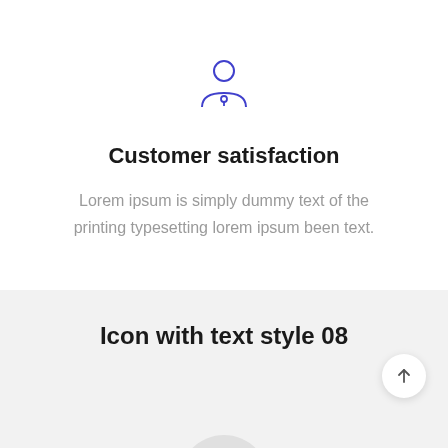[Figure (illustration): Purple outline icon of a person/user with a location pin below]
Customer satisfaction
Lorem ipsum is simply dummy text of the printing typesetting lorem ipsum been text.
Icon with text style 08
[Figure (illustration): Circular scroll-to-top button with upward arrow]